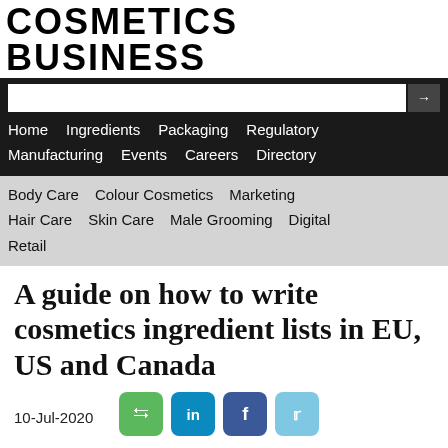COSMETICS BUSINESS
Home   Ingredients   Packaging   Regulatory   Manufacturing   Events   Careers   Directory
Body Care   Colour Cosmetics   Marketing   Hair Care   Skin Care   Male Grooming   Digital   Retail
A guide on how to write cosmetics ingredient lists in EU, US and Canada
10-Jul-2020
Ingredients | Regulatory | Research & Development